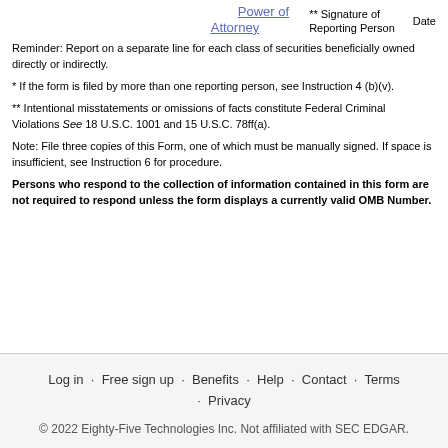Power of Attorney
** Signature of Reporting Person   Date
Reminder: Report on a separate line for each class of securities beneficially owned directly or indirectly.
* If the form is filed by more than one reporting person, see Instruction 4 (b)(v).
** Intentional misstatements or omissions of facts constitute Federal Criminal Violations See 18 U.S.C. 1001 and 15 U.S.C. 78ff(a).
Note: File three copies of this Form, one of which must be manually signed. If space is insufficient, see Instruction 6 for procedure.
Persons who respond to the collection of information contained in this form are not required to respond unless the form displays a currently valid OMB Number.
Log in · Free sign up · Benefits · Help · Contact · Terms · Privacy
© 2022 Eighty-Five Technologies Inc. Not affiliated with SEC EDGAR.